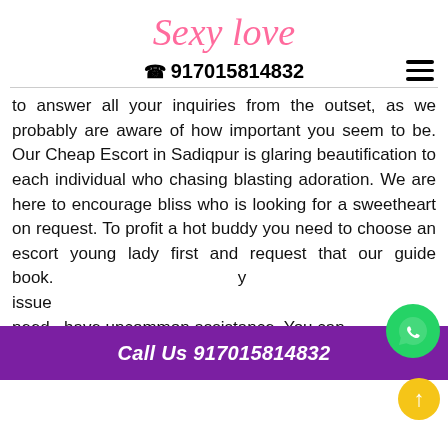Sexy Love
☎ 917015814832
to answer all your inquiries from the outset, as we probably are aware of how important you seem to be. Our Cheap Escort in Sadiqpur is glaring beautification to each individual who chasing blasting adoration. We are here to encourage bliss who is looking for a sweetheart on request. To profit a hot buddy you need to choose an escort young lady first and request that our guide book. …issue …need, have uncommon assistance. You can portray every one of your disarrays to them.
Call Us 917015814832